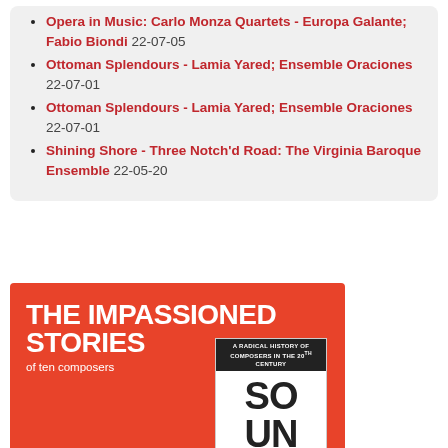Opera in Music: Carlo Monza Quartets - Europa Galante; Fabio Biondi 22-07-05
Ottoman Splendours - Lamia Yared; Ensemble Oraciones 22-07-01
Ottoman Splendours - Lamia Yared; Ensemble Oraciones 22-07-01
Shining Shore - Three Notch'd Road: The Virginia Baroque Ensemble 22-05-20
[Figure (other): Advertisement banner with orange/red background showing 'THE IMPASSIONED STORIES' text in white bold letters and a book cover for 'A Radical History of Composers in the 20th Century SOUND' with partial subtitle 'of ten composers']